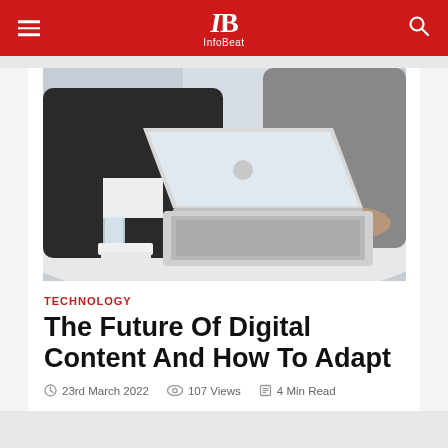InfoBeat
[Figure (photo): Two people at a round white table with a MacBook laptop, one person pointing with a pen and another handling the laptop]
TECHNOLOGY
The Future Of Digital Content And How To Adapt
23rd March 2022   107 Views   4 Min Read